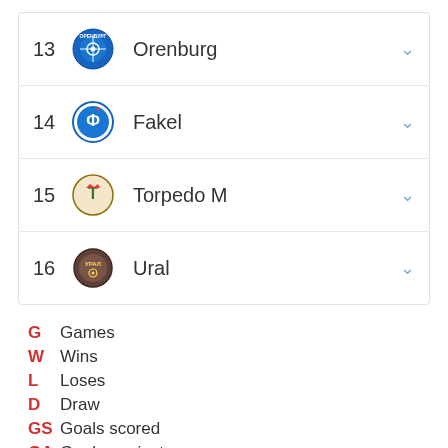13 Orenburg
14 Fakel
15 Torpedo M
16 Ural
G  Games
W  Wins
L  Loses
D  Draw
GS  Goals scored
GA  Goals against
P  Points